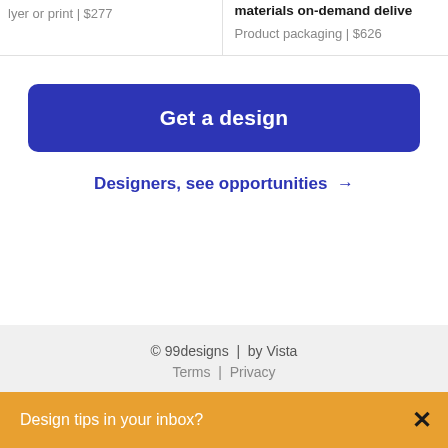lyer or print | $277
materials on-demand delive
Product packaging | $626
Get a design
Designers, see opportunities →
© 99designs  |  by Vista
Terms  |  Privacy
Design tips in your inbox?